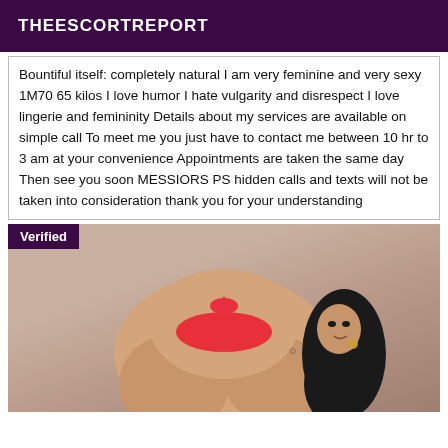THEESCORTREPORT
Bountiful itself: completely natural I am very feminine and very sexy 1M70 65 kilos I love humor I hate vulgarity and disrespect I love lingerie and femininity Details about my services are available on simple call To meet me you just have to contact me between 10 hr to 3 am at your convenience Appointments are taken the same day Then see you soon MESSIORS PS hidden calls and texts will not be taken into consideration thank you for your understanding
[Figure (photo): Photo of a woman in a red bikini, posing. A purple 'Verified' badge is overlaid in the top-left corner of the image.]